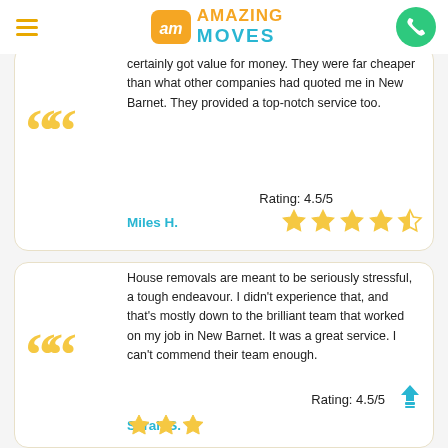Amazing Moves
certainly got value for money. They were far cheaper than what other companies had quoted me in New Barnet. They provided a top-notch service too.
Miles H.
Rating: 4.5/5
House removals are meant to be seriously stressful, a tough endeavour. I didn't experience that, and that's mostly down to the brilliant team that worked on my job in New Barnet. It was a great service. I can't commend their team enough.
Sarah S.
Rating: 4.5/5